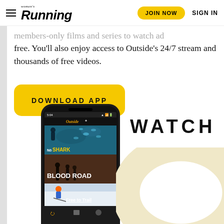Women's Running — JOIN NOW | SIGN IN
members-only films and series to watch ad free. You'll also enjoy access to Outside's 24/7 stream and thousands of free videos.
DOWNLOAD APP
[Figure (screenshot): Smartphone mockup showing the Outside+ app with three content thumbnails: 'No SHARK' (underwater scene), 'BLOOD ROAD', and a skiing scene. Navigation bar at bottom.]
WATCH